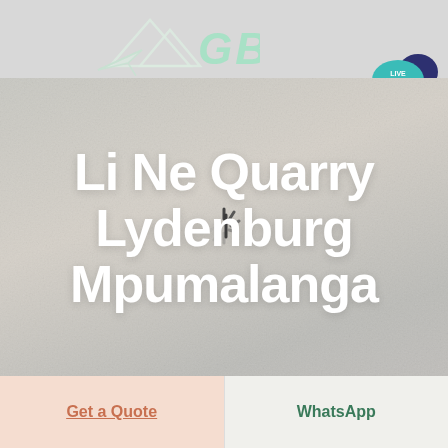[Figure (logo): GBM company logo with mountain/paper plane icon and stylized GBM lettering in green]
[Figure (illustration): Live Chat speech bubble icon in teal with dark blue chat bubble]
[Figure (photo): Hero background image showing quarry or stone material, with loading spinner overlay]
Li Ne Quarry Lydenburg Mpumalanga
Get a Quote
WhatsApp